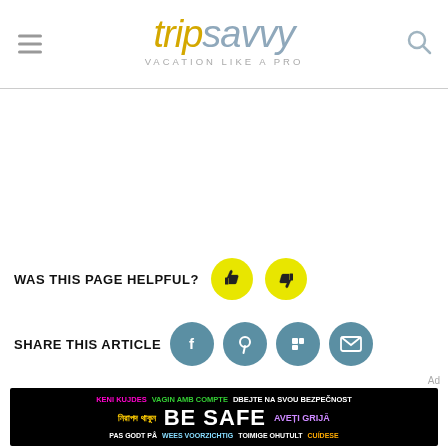tripsavvy VACATION LIKE A PRO
WAS THIS PAGE HELPFUL?
SHARE THIS ARTICLE
[Figure (screenshot): Dark ad banner with multilingual safety text: KENI KUJDES, VAGIN AMB COMPTE, DBEJTE NA SVOU BEZPECNOST, nirapad thakun, BE SAFE, AVETI GRIJA, PAS GODT PA, WEES VOORZICHTIG, TOIMIGE OHUTULT, CUIDESE]